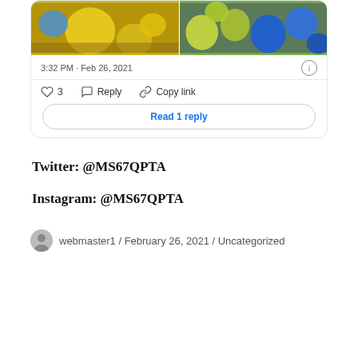[Figure (screenshot): Tweet card showing balloon photos with timestamp 3:32 PM · Feb 26, 2021, like/reply/copy link actions, and Read 1 reply button]
Twitter: @MS67QPTA
Instagram: @MS67QPTA
webmaster1 / February 26, 2021 / Uncategorized